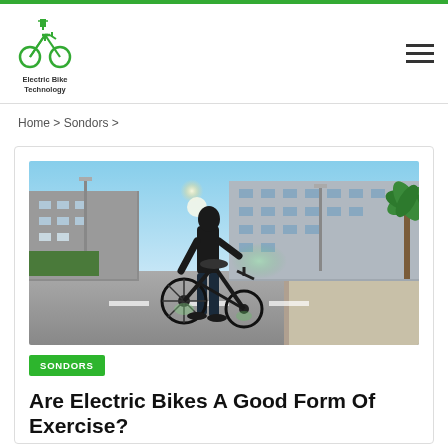Electric Bike Technology
Home > Sondors >
[Figure (photo): Person standing with a folding electric bike on a city street, sun glare visible, modern apartment buildings in background, palm trees on right]
SONDORS
Are Electric Bikes A Good Form Of Exercise?